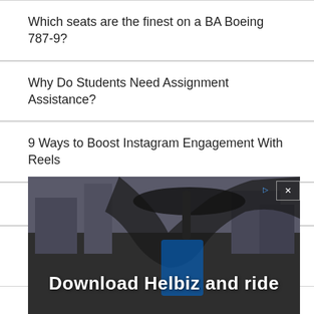Which seats are the finest on a BA Boeing 787-9?
Why Do Students Need Assignment Assistance?
9 Ways to Boost Instagram Engagement With Reels
5 Reasons to Consider Dental Veneers
6 Types of Forex Trading Technical Analysis Every Trader Must Know
Practical Tips for Patients to Quickly Recover from
[Figure (photo): Advertisement banner showing a scooter with text 'Download Helbiz and ride']